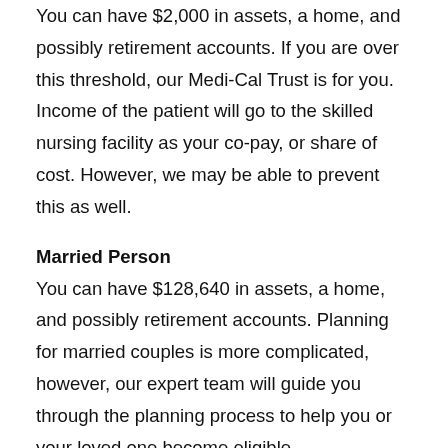You can have $2,000 in assets, a home, and possibly retirement accounts. If you are over this threshold, our Medi-Cal Trust is for you. Income of the patient will go to the skilled nursing facility as your co-pay, or share of cost. However, we may be able to prevent this as well.
Married Person
You can have $128,640 in assets, a home, and possibly retirement accounts. Planning for married couples is more complicated, however, our expert team will guide you through the planning process to help you or your loved one become eligible.